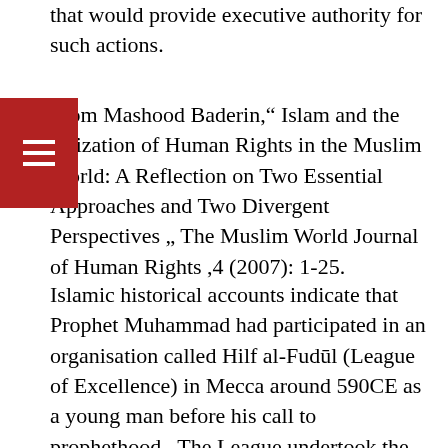that would provide executive authority for such actions.
From Mashood Baderin," Islam and the Realization of Human Rights in the Muslim World: A Reflection on Two Essential Approaches and Two Divergent Perspectives ," The Muslim World Journal of Human Rights ,4 (2007): 1-25.
Islamic historical accounts indicate that Prophet Muhammad had participated in an organisation called Hilf al-Fudūl (League of Excellence) in Mecca around 590CE as a young man before his call to prophethood.  The League undertook the task of intervening and protecting the interest of the oppressed and victims of injustice in any transaction involving the chieftains and the